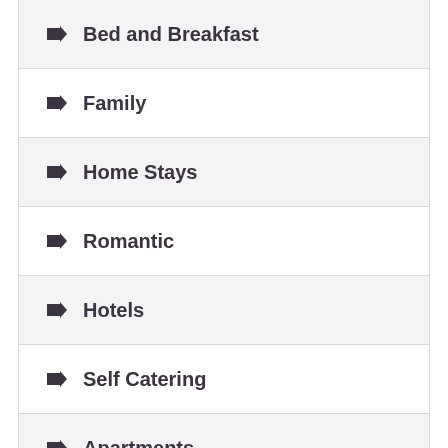Bed and Breakfast
Family
Home Stays
Romantic
Hotels
Self Catering
Apartments
Tents
Unusual